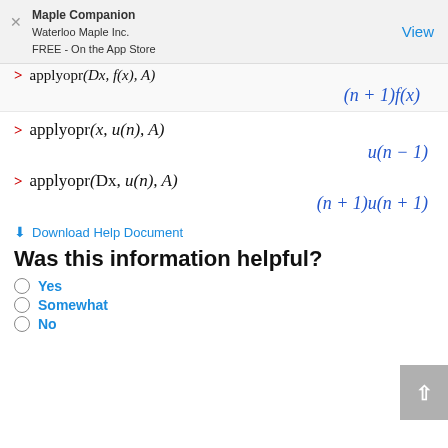Maple Companion
Waterloo Maple Inc.
FREE - On the App Store
View
Download Help Document
Was this information helpful?
Yes
Somewhat
No